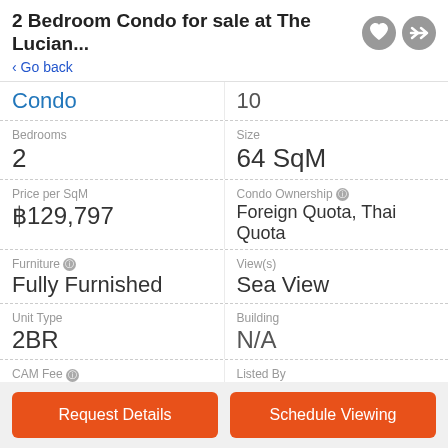2 Bedroom Condo for sale at The Lucian...
< Go back
| Property Type | Floor |
| --- | --- |
| Condo | 10 |
| Bedrooms | Size |
| 2 | 64 SqM |
| Price per SqM | Condo Ownership |
| ฿129,797 | Foreign Quota, Thai Quota |
| Furniture | View(s) |
| Fully Furnished | Sea View |
| Unit Type | Building |
| 2BR | N/A |
| CAM Fee | Listed By |
| ฿3,520/mo | Developer |
| Date Listed | Last Updated |
Request Details
Schedule Viewing